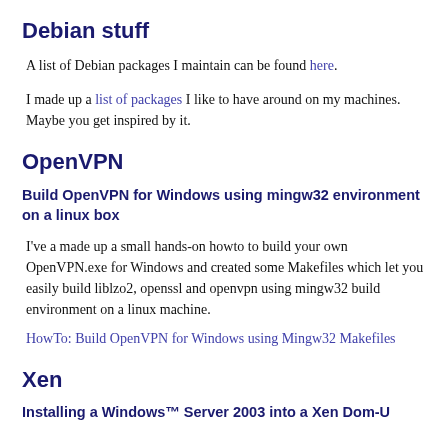Debian stuff
A list of Debian packages I maintain can be found here.
I made up a list of packages I like to have around on my machines. Maybe you get inspired by it.
OpenVPN
Build OpenVPN for Windows using mingw32 environment on a linux box
I've a made up a small hands-on howto to build your own OpenVPN.exe for Windows and created some Makefiles which let you easily build liblzo2, openssl and openvpn using mingw32 build environment on a linux machine.
HowTo: Build OpenVPN for Windows using Mingw32 Makefiles
Xen
Installing a Windows™ Server 2003 into a Xen Dom-U